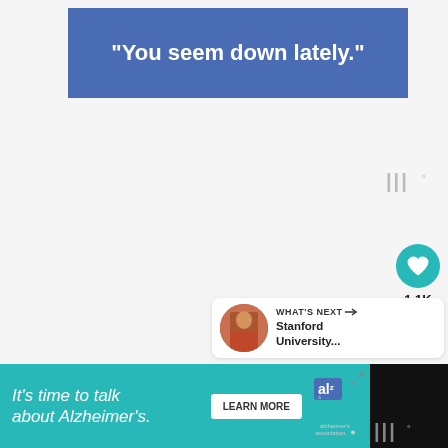“You seem down lately.”
[Figure (logo): Milli degree symbol logo in gray, top right]
[Figure (other): Teal circular heart/like button with 1.1K count below]
[Figure (other): White circular share button]
[Figure (other): What's Next card with Stanford University thumbnail and label]
[Figure (other): Alzheimer's association advertisement banner: It's time to talk about Alzheimer's. with Learn More button and alzheimer's association logo]